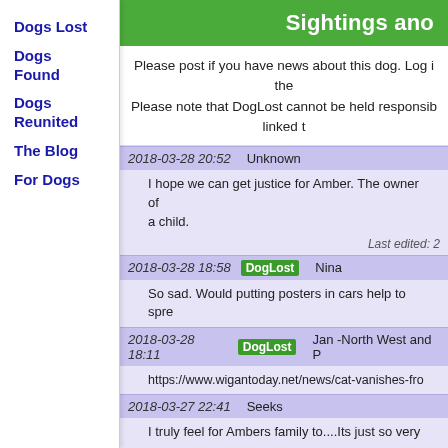Dogs Lost
Dogs Found
Dogs Reunited
The Blog
For Dogs
Sightings and
Please post if you have news about this dog. Log i the
Please note that DogLost cannot be held responsib linked t
2018-03-28 20:52   Unknown
I hope we can get justice for Amber. The owner of a child.
Last edited: 2
2018-03-28 18:58  DogLost  Nina
So sad. Would putting posters in cars help to spre
2018-03-28 18:11  DogLost  Jan -North West and P
https://www.wigantoday.net/news/cat-vanishes-fro
2018-03-27 22:41  Seeks
I truly feel for Ambers family to....Its just so very ve

Shared and tweeted for Amber and I just so sorry